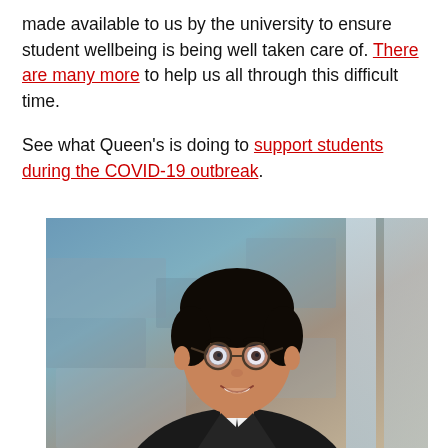made available to us by the university to ensure student wellbeing is being well taken care of. There are many more to help us all through this difficult time.

See what Queen's is doing to support students during the COVID-19 outbreak.
[Figure (photo): Portrait photograph of a young man with dark hair wearing round glasses and a dark suit jacket with a white shirt, smiling at the camera. Background shows a blurred artistic or architectural scene with blue and warm tones.]